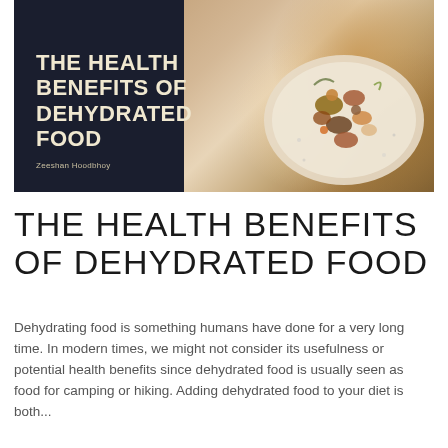[Figure (photo): Book cover image for 'The Health Benefits of Dehydrated Food' by Zeeshan Hoodbhoy. Dark navy background on the left with bold cream-colored title text. Right side shows a food photograph of nuts, dried fruits and other foods on a plate.]
THE HEALTH BENEFITS OF DEHYDRATED FOOD
Dehydrating food is something humans have done for a very long time. In modern times, we might not consider its usefulness or potential health benefits since dehydrated food is usually seen as food for camping or hiking. Adding dehydrated food to your diet is both...